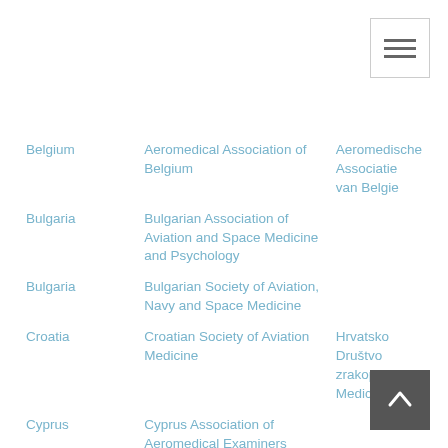[Figure (other): Hamburger menu icon button in top-right corner]
| Country | Association (English) | Association (Local) |
| --- | --- | --- |
| Belgium | Aeromedical Association of Belgium | Aeromedische Associatie van Belgie |
| Bulgaria | Bulgarian Association of Aviation and Space Medicine and Psychology |  |
| Bulgaria | Bulgarian Society of Aviation, Navy and Space Medicine |  |
| Croatia | Croatian Society of Aviation Medicine | Hrvatsko Društvo zrakoplovne Medicine |
| Cyprus | Cyprus Association of Aeromedical Examiners |  |
[Figure (other): Scroll-to-top arrow button in bottom-right corner]